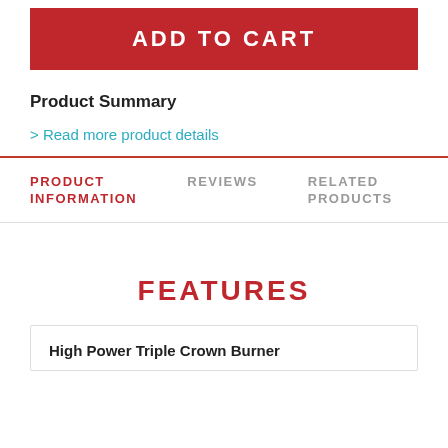ADD TO CART
Product Summary
> Read more product details
PRODUCT INFORMATION
REVIEWS
RELATED PRODUCTS
FEATURES
High Power Triple Crown Burner